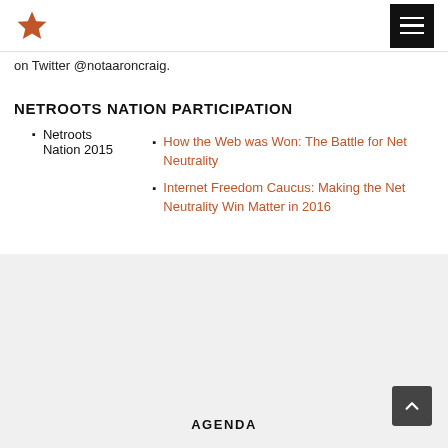★ [hamburger menu]
on Twitter @notaaroncraig.
NETROOTS NATION PARTICIPATION
Netroots Nation 2015
How the Web was Won: The Battle for Net Neutrality
Internet Freedom Caucus: Making the Net Neutrality Win Matter in 2016
AGENDA